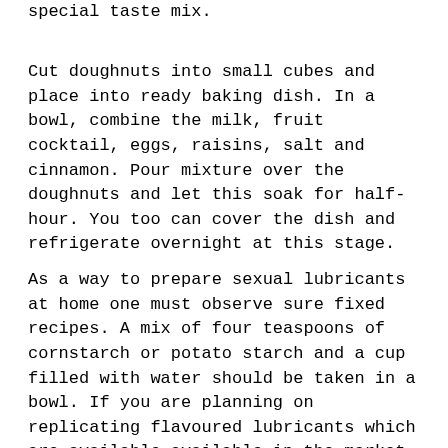special taste mix.
Cut doughnuts into small cubes and place into ready baking dish. In a bowl, combine the milk, fruit cocktail, eggs, raisins, salt and cinnamon. Pour mixture over the doughnuts and let this soak for half-hour. You too can cover the dish and refrigerate overnight at this stage.
As a way to prepare sexual lubricants at home one must observe sure fixed recipes. A mix of four teaspoons of cornstarch or potato starch and a cup filled with water should be taken in a bowl. If you are planning on replicating flavoured lubricants which are available available in the market then you can add flavoured extracts from certain merchandise according to your individual tastes. A number of drops of flavoured extracts ought to suffice for adding flavour to your lubricants. Following this, take the combination in a pot and boil it for a couple of minutes before knocking down the warmth and